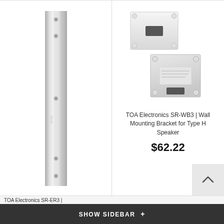[Figure (photo): White metal rail/track product (tall, thin, vertical strip with mounting holes) - left product column]
[Figure (photo): TOA Electronics SR-WB3 wall mounting brackets - two white metal bracket plates shown at an angle - right product column]
TOA Electronics SR-WB3 | Wall Mounting Bracket for Type H Speaker
$62.22
SHOW SIDEBAR +
TOA Electronics SR-ER3 |